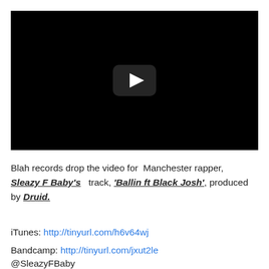[Figure (screenshot): Black video player thumbnail with a YouTube-style play button (rounded rectangle with white triangle) centered on a black background.]
Blah records drop the video for Manchester rapper, Sleazy F Baby's track, 'Ballin ft Black Josh', produced by Druid.
iTunes: http://tinyurl.com/h6v64wj
Bandcamp: http://tinyurl.com/jxut2le
@SleazyFBaby